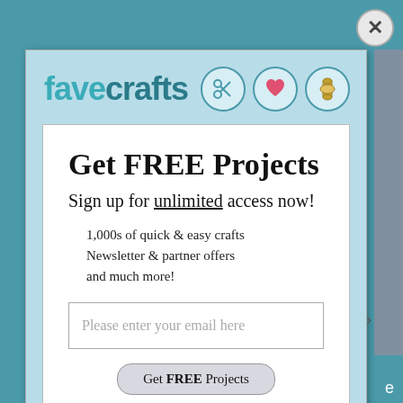[Figure (logo): FaveCrafts logo with scissors, heart, and spool icons]
Get FREE Projects
Sign up for unlimited access now!
1,000s of quick & easy crafts
Newsletter & partner offers
and much more!
Please enter your email here
Get FREE Projects
Privacy Policy